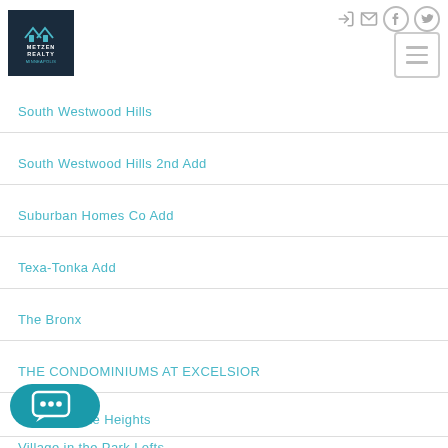Metzen Realty — navigation header with logo, icons, and hamburger menu
South Westwood Hills
South Westwood Hills 2nd Add
Suburban Homes Co Add
Texa-Tonka Add
The Bronx
THE CONDOMINIUMS AT EXCELSIOR
s Cedar Lake Heights
Village in the Park Lofts